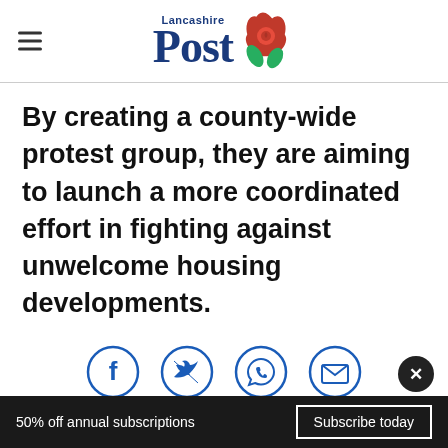Lancashire Post
By creating a county-wide protest group, they are aiming to launch a more coordinated effort in fighting against unwelcome housing developments.
[Figure (infographic): Social sharing icons in circles: Facebook, Twitter, WhatsApp, Email]
[Figure (infographic): Advertisement: Save Big on Goodyear Tires - Virginia Tire & Auto of Ashburn]
50% off annual subscriptions  Subscribe today